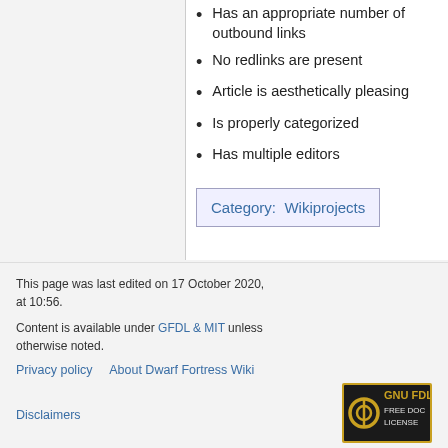Has an appropriate number of outbound links
No redlinks are present
Article is aesthetically pleasing
Is properly categorized
Has multiple editors
Category:  Wikiprojects
This page was last edited on 17 October 2020, at 10:56.

Content is available under GFDL & MIT unless otherwise noted.

Privacy policy   About Dwarf Fortress Wiki

Disclaimers